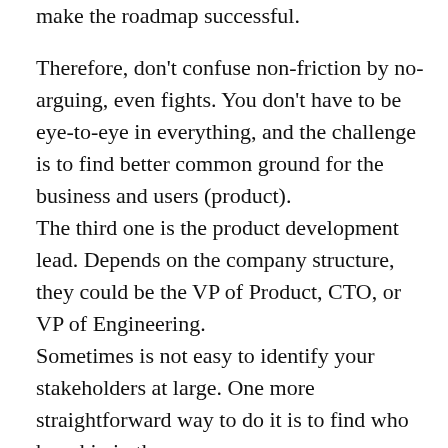make the roadmap successful.
Therefore, don't confuse non-friction by no-arguing, even fights. You don't have to be eye-to-eye in everything, and the challenge is to find better common ground for the business and users (product).
The third one is the product development lead. Depends on the company structure, they could be the VP of Product, CTO, or VP of Engineering.
Sometimes is not easy to identify your stakeholders at large. One more straightforward way to do it is to find who has skin in the game.